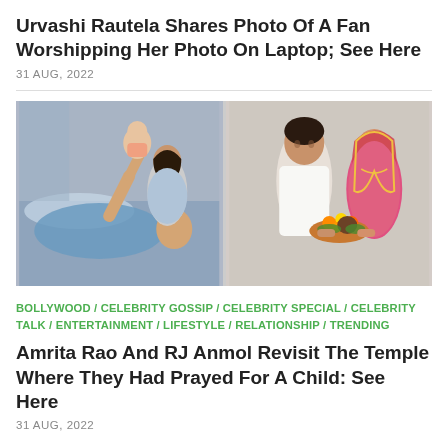Urvashi Rautela Shares Photo Of A Fan Worshipping Her Photo On Laptop; See Here
31 AUG, 2022
[Figure (photo): Two photos side by side: left shows a man and woman playing with a baby; right shows a couple in traditional Indian attire holding a flower offering at a temple.]
BOLLYWOOD / CELEBRITY GOSSIP / CELEBRITY SPECIAL / CELEBRITY TALK / ENTERTAINMENT / LIFESTYLE / RELATIONSHIP / TRENDING
Amrita Rao And RJ Anmol Revisit The Temple Where They Had Prayed For A Child: See Here
31 AUG, 2022